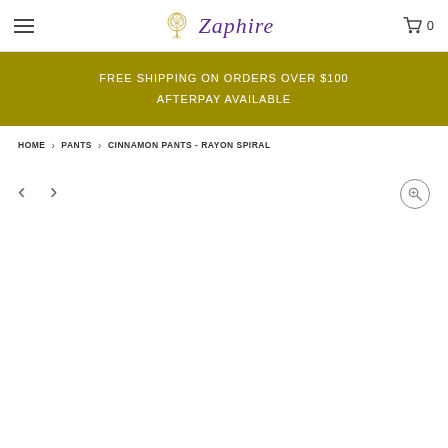Zaphire — navigation header with hamburger menu and cart (0 items)
FREE SHIPPING ON ORDERS OVER $100
AFTERPAY AVAILABLE
HOME > PANTS > CINNAMON PANTS - RAYON SPIRAL
[Figure (screenshot): Product image navigation area with left/right arrows and zoom button; image area is blank white]